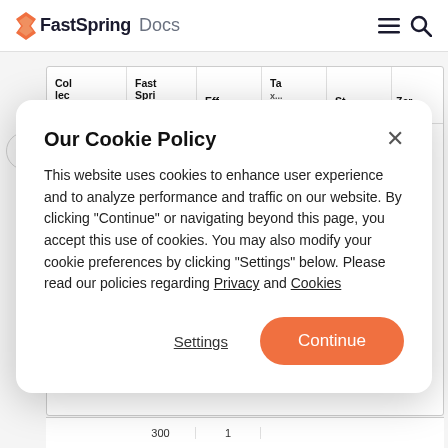FastSpring Docs
[Figure (screenshot): Partially visible table with columns including Col, FastSpring, Eff, Ta, St and a row showing 300, 1]
Our Cookie Policy
This website uses cookies to enhance user experience and to analyze performance and traffic on our website. By clicking "Continue" or navigating beyond this page, you accept this use of cookies. You may also modify your cookie preferences by clicking "Settings" below. Please read our policies regarding Privacy and Cookies
Settings   Continue